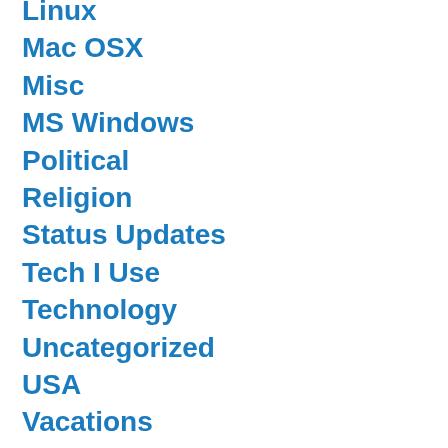Linux
Mac OSX
Misc
MS Windows
Political
Religion
Status Updates
Tech I Use
Technology
Uncategorized
USA
Vacations